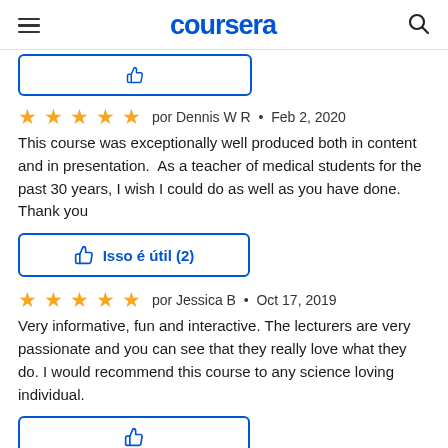coursera
[Figure (other): Partially visible button at the top of the content area]
por Dennis W R  •  Feb 2, 2020
This course was exceptionally well produced both in content and in presentation.  As a teacher of medical students for the past 30 years, I wish I could do as well as you have done. Thank you
Isso é útil (2)
por Jessica B  •  Oct 17, 2019
Very informative, fun and interactive. The lecturers are very passionate and you can see that they really love what they do. I would recommend this course to any science loving individual.
[Figure (other): Partially visible button at the bottom of the page]